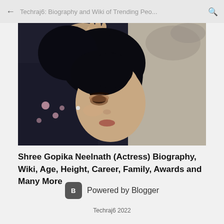← Techraj6: Biography and Wiki of Trending Peo... 🔍
[Figure (photo): Close-up portrait photo of Shree Gopika Neelnath, an Indian actress with dark hair styled up, wearing a dark floral outfit, posed against a light wall background]
Shree Gopika Neelnath (Actress) Biography, Wiki, Age, Height, Career, Family, Awards and Many More
Powered by Blogger
Techraj6 2022